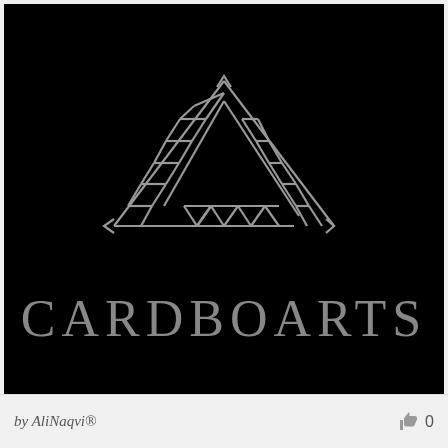[Figure (logo): CARDBOARTS logo on black background: a geometric recycling-triangle symbol made of struts and triangular lattice shapes in silver/gray, with the word CARDBOARTS below in large silver serif lettering]
by AliNaqvi® 0